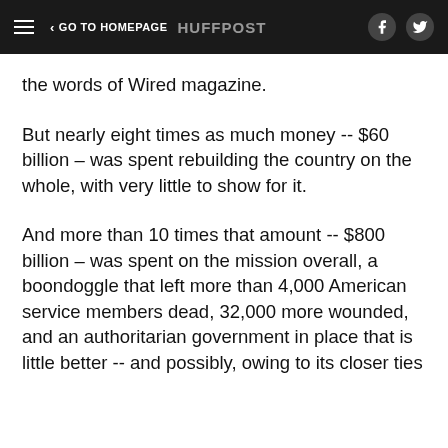GO TO HOMEPAGE HUFFPOST
the words of Wired magazine.
But nearly eight times as much money -- $60 billion – was spent rebuilding the country on the whole, with very little to show for it.
And more than 10 times that amount -- $800 billion – was spent on the mission overall, a boondoggle that left more than 4,000 American service members dead, 32,000 more wounded, and an authoritarian government in place that is little better -- and possibly, owing to its closer ties